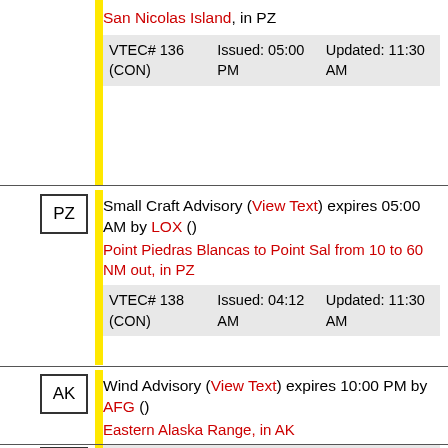San Nicolas Island, in PZ
| VTEC# 136 (CON) | Issued: 05:00 PM | Updated: 11:30 AM |
| --- | --- | --- |
Small Craft Advisory (View Text) expires 05:00 AM by LOX ()
Point Piedras Blancas to Point Sal from 10 to 60 NM out, in PZ
| VTEC# 138 (CON) | Issued: 04:12 AM | Updated: 11:30 AM |
| --- | --- | --- |
Wind Advisory (View Text) expires 10:00 PM by AFG ()
Eastern Alaska Range, in AK
| VTEC# 23 (CON) | Issued: 01:00 AM | Updated: 02:30 PM |
| --- | --- | --- |
Flood Advisory (View Text) expires 02:00 AM by